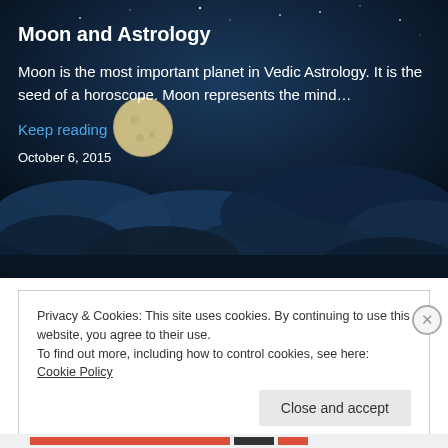[Figure (photo): Night sky with moon and clouds background image for Moon and Astrology article]
Moon and Astrology
Moon is the most important planet in Vedic Astrology. It is the seed of a horoscope. Moon represents the mind…
Keep reading
October 6, 2015
Privacy & Cookies: This site uses cookies. By continuing to use this website, you agree to their use.
To find out more, including how to control cookies, see here: Cookie Policy
Close and accept